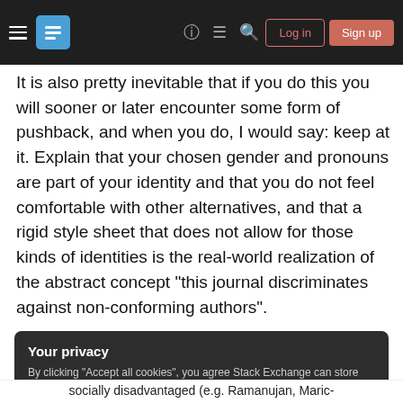Stack Exchange navigation bar with hamburger menu, logo, help, chat, search icons, Log in and Sign up buttons
It is also pretty inevitable that if you do this you will sooner or later encounter some form of pushback, and when you do, I would say: keep at it. Explain that your chosen gender and pronouns are part of your identity and that you do not feel comfortable with other alternatives, and that a rigid style sheet that does not allow for those kinds of identities is the real-world realization of the abstract concept "this journal discriminates against non-conforming authors".
Your privacy
By clicking "Accept all cookies", you agree Stack Exchange can store cookies on your device and disclose information in accordance with our Cookie Policy.
Accept all cookies   Customize settings
socially disadvantaged (e.g. Ramanujan, Maric-